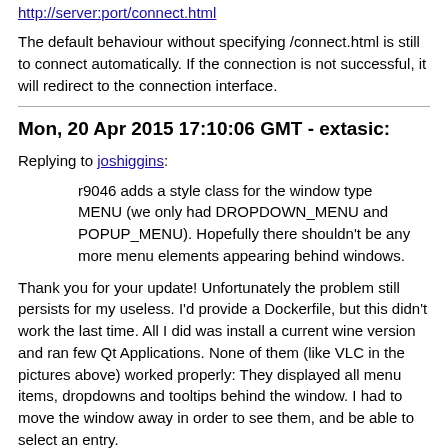http://server:port/connect.html
The default behaviour without specifying /connect.html is still to connect automatically. If the connection is not successful, it will redirect to the connection interface.
Mon, 20 Apr 2015 17:10:06 GMT - extasic:
Replying to joshiggins:
r9046 adds a style class for the window type MENU (we only had DROPDOWN_MENU and POPUP_MENU). Hopefully there shouldn't be any more menu elements appearing behind windows.
Thank you for your update! Unfortunately the problem still persists for my useless. I'd provide a Dockerfile, but this didn't work the last time. All I did was install a current wine version and ran few Qt Applications. None of them (like VLC in the pictures above) worked properly: They displayed all menu items, dropdowns and tooltips behind the window. I had to move the window away in order to see them, and be able to select an entry.
Do you have any other idea what I might try, or what debug / log